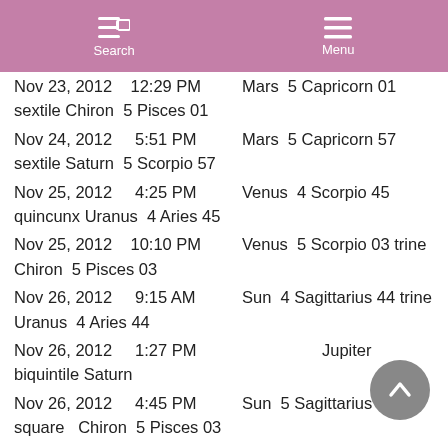Search   Menu
Nov 23, 2012   12:29 PM   Mars  5 Capricorn 01
sextile Chiron  5 Pisces 01
Nov 24, 2012    5:51 PM   Mars  5 Capricorn 57
sextile Saturn  5 Scorpio 57
Nov 25, 2012    4:25 PM   Venus  4 Scorpio 45
quincunx Uranus  4 Aries 45
Nov 25, 2012   10:10 PM   Venus  5 Scorpio 03 trine
Chiron  5 Pisces 03
Nov 26, 2012    9:15 AM   Sun  4 Sagittarius 44 trine
Uranus  4 Aries 44
Nov 26, 2012    1:27 PM   Jupiter
biquintile Saturn
Nov 26, 2012    4:45 PM   Sun  5 Sagittarius 03
square   Chiron  5 Pisces 03